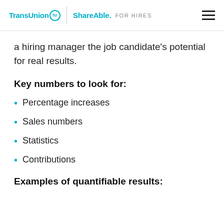TransUnion ShareAble. FOR HIRES
a hiring manager the job candidate's potential for real results.
Key numbers to look for:
Percentage increases
Sales numbers
Statistics
Contributions
Examples of quantifiable results: